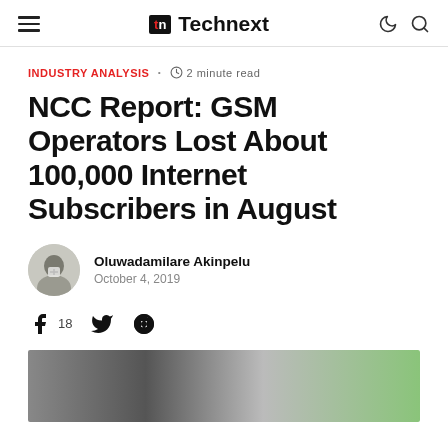Technext
INDUSTRY ANALYSIS · 2 minute read
NCC Report: GSM Operators Lost About 100,000 Internet Subscribers in August
Oluwadamilare Akinpelu
October 4, 2019
18 (shares)
[Figure (photo): Article header image, blurred photo]